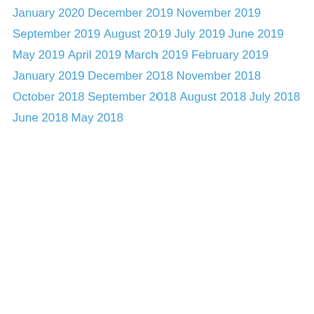January 2020
December 2019
November 2019
September 2019
August 2019
July 2019
June 2019
May 2019
April 2019
March 2019
February 2019
January 2019
December 2018
November 2018
October 2018
September 2018
August 2018
July 2018
June 2018
May 2018